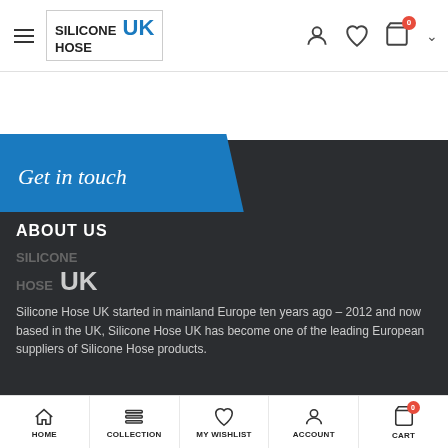[Figure (screenshot): Silicone Hose UK website header with hamburger menu, logo, user icon, wishlist heart icon, and cart icon with 0 badge]
[Figure (screenshot): Filter bar with FILTER button, BEST SELLING dropdown, count selector showing 16, and grid/list view toggle icons]
[Figure (screenshot): Get in touch blue angled tab on dark background]
ABOUT US
[Figure (logo): Silicone Hose UK logo in grey/white on dark background]
Silicone Hose UK started in mainland Europe ten years ago - 2012 and now based in the UK, Silicone Hose UK has become one of the leading European suppliers of Silicone Hose products.
[Figure (screenshot): Bottom navigation bar with HOME, COLLECTION, MY WISHLIST, ACCOUNT, CART icons and labels]